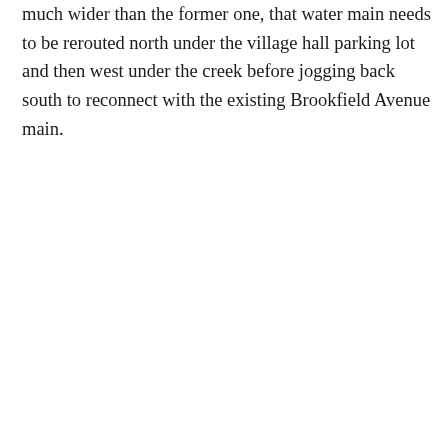much wider than the former one, that water main needs to be rerouted north under the village hall parking lot and then west under the creek before jogging back south to reconnect with the existing Brookfield Avenue main.